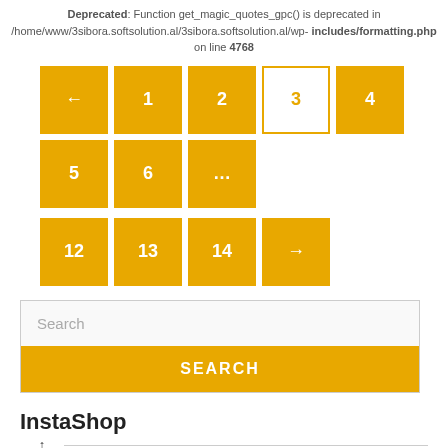Deprecated: Function get_magic_quotes_gpc() is deprecated in /home/www/3sibora.softsolution.al/3sibora.softsolution.al/wp-includes/formatting.php on line 4768
[Figure (other): Pagination widget with yellow square buttons: ← 1 2 3(active) 4 5 6 ... on first row, 12 13 14 → on second row]
[Figure (other): Search box with placeholder text 'Search' and a yellow SEARCH button below]
InstaShop
[Figure (other): Instagram icon circle with brandville.al text]
brandville.al